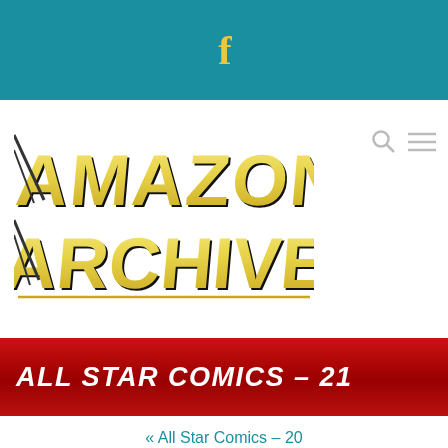f
[Figure (logo): Amazon Archives logo — gold block letters with black outline reading AMAZON ARCHIVES in a stylized comic book font]
ALL STAR COMICS – 21
« All Star Comics – 20
All Star Comics – 22 »